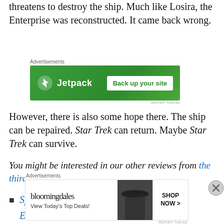threatens to destroy the ship. Much like Losira, the Enterprise was reconstructed. It came back wrong.
[Figure (other): Jetpack advertisement banner with green background, Jetpack logo and 'Back up your site' button]
However, there is also some hope there. The ship can be repaired. Star Trek can return. Maybe Star Trek can survive.
You might be interested in our other reviews from the third season of Star Trek: The Original Series:
Spectre of the Gun
Elaan of Troyius
[Figure (other): Bloomingdale's advertisement banner with 'View Today's Top Deals!' and 'SHOP NOW >' button]